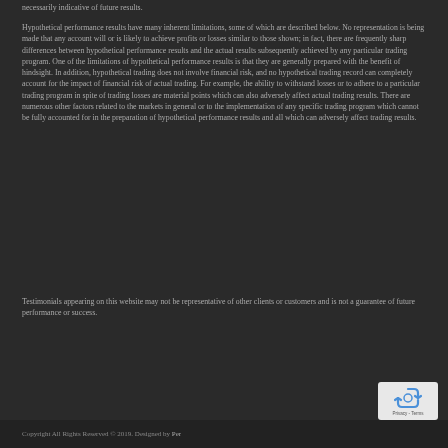necessarily indicative of future results.
Hypothetical performance results have many inherent limitations, some of which are described below. No representation is being made that any account will or is likely to achieve profits or losses similar to those shown; in fact, there are frequently sharp differences between hypothetical performance results and the actual results subsequently achieved by any particular trading program. One of the limitations of hypothetical performance results is that they are generally prepared with the benefit of hindsight. In addition, hypothetical trading does not involve financial risk, and no hypothetical trading record can completely account for the impact of financial risk of actual trading. For example, the ability to withstand losses or to adhere to a particular trading program in spite of trading losses are material points which can also adversely affect actual trading results. There are numerous other factors related to the markets in general or to the implementation of any specific trading program which cannot be fully accounted for in the preparation of hypothetical performance results and all which can adversely affect trading results.
Testimonials appearing on this website may not be representative of other clients or customers and is not a guarantee of future performance or success.
[Figure (logo): reCAPTCHA badge with recycling-style arrows logo and Privacy-Terms text]
Copyright All Rights Reserved © 2019. Designed by Per...